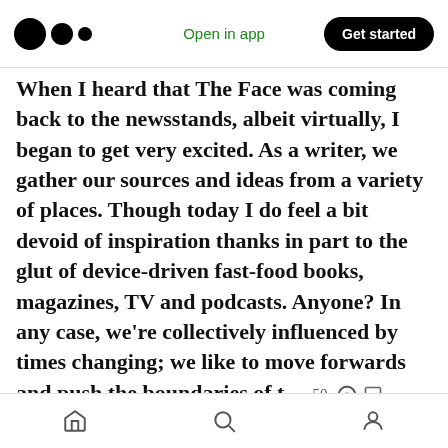Medium logo | Open in app | Get started
When I heard that The Face was coming back to the newsstands, albeit virtually, I began to get very excited. As a writer, we gather our sources and ideas from a variety of places. Though today I do feel a bit devoid of inspiration thanks in part to the glut of device-driven fast-food books, magazines, TV and podcasts. Anyone? In any case, we're collectively influenced by times changing; we like to move forwards and push the boundaries of t [clap 50 | comment] times acceptability! Like most writers of my age and
Home | Search | Profile